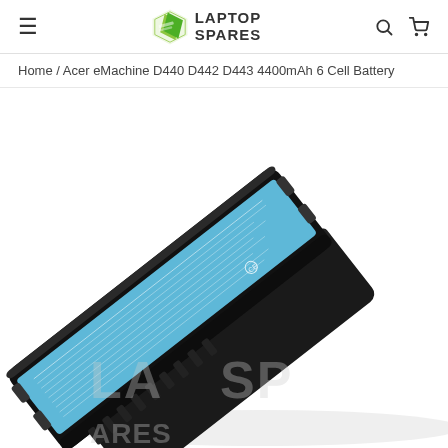Laptop Spares
Home / Acer eMachine D440 D442 D443 4400mAh 6 Cell Battery
[Figure (photo): Product photo of an Acer eMachine D440 D442 D443 4400mAh 6 Cell laptop battery. The battery is shown at an angle, with a blue label on top and black casing. The Laptop Spares watermark is visible on the image.]